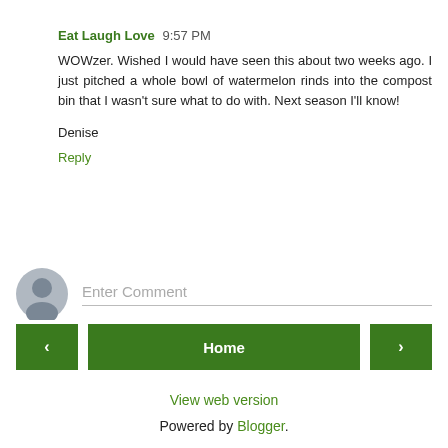Eat Laugh Love 9:57 PM
WOWzer. Wished I would have seen this about two weeks ago. I just pitched a whole bowl of watermelon rinds into the compost bin that I wasn't sure what to do with. Next season I'll know!
Denise
Reply
Enter Comment
Home
View web version
Powered by Blogger.